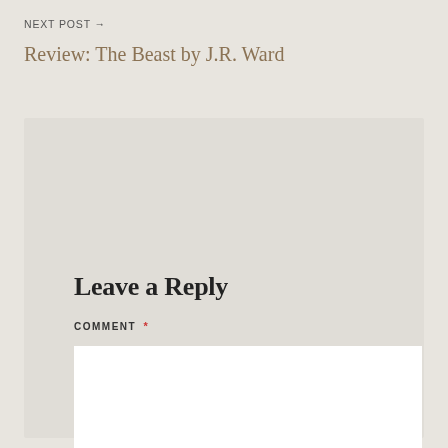NEXT POST →
Review: The Beast by J.R. Ward
Leave a Reply
COMMENT *